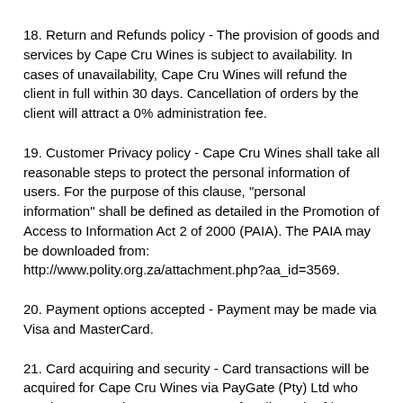18. Return and Refunds policy - The provision of goods and services by Cape Cru Wines is subject to availability. In cases of unavailability, Cape Cru Wines will refund the client in full within 30 days. Cancellation of orders by the client will attract a 0% administration fee.
19. Customer Privacy policy - Cape Cru Wines shall take all reasonable steps to protect the personal information of users. For the purpose of this clause, "personal information" shall be defined as detailed in the Promotion of Access to Information Act 2 of 2000 (PAIA). The PAIA may be downloaded from: http://www.polity.org.za/attachment.php?aa_id=3569.
20. Payment options accepted - Payment may be made via Visa and MasterCard.
21. Card acquiring and security - Card transactions will be acquired for Cape Cru Wines via PayGate (Pty) Ltd who are the approved payment gateway for all South African Acquiring Banks. PayGate uses the strictest form of encryption, namely Secure Socket Layer 3 (SSL 3) and no Card details are stored